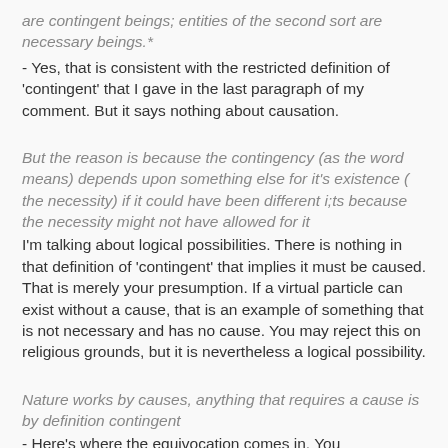are contingent beings; entities of the second sort are necessary beings.*
- Yes, that is consistent with the restricted definition of 'contingent' that I gave in the last paragraph of my comment. But it says nothing about causation.
But the reason is because the contingency (as the word means) depends upon something else for it's existence ( the necessity) if it could have been different i;ts because the necessity might not have allowed for it
I'm talking about logical possibilities. There is nothing in that definition of 'contingent' that implies it must be caused. That is merely your presumption. If a virtual particle can exist without a cause, that is an example of something that is not necessary and has no cause. You may reject this on religious grounds, but it is nevertheless a logical possibility.
Nature works by causes, anything that requires a cause is by definition contingent
- Here's where the equivocation comes in. You